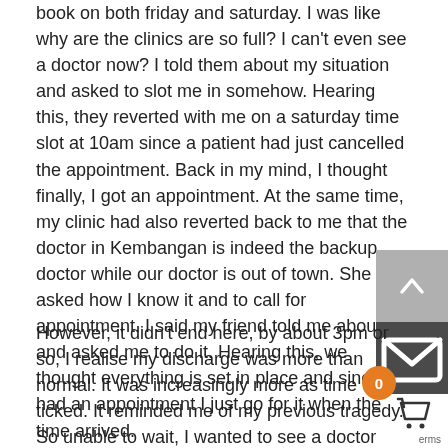book on both friday and saturday. I was like why are the clinics are so full? I can't even see a doctor now? I told them about my situation and asked to slot me in somehow. Hearing this, they reverted with me on a saturday time slot at 10am since a patient had just cancelled the appointment. Back in my mind, I thought finally, I got an appointment. At the same time, my clinic had also reverted back to me that the doctor in Kembangan is indeed the backup doctor while our doctor is out of town. She asked how I know it and to call for appointment. I said my friend told me about it and asked me to do it. Hearing this, we thought everything is set in place and since I had an appointment I just go for it when the time arrived.
However, it didn't end here, by about 3pm or so, I realise my discharge was more than normal. It was increasingly more as time ticked. It reminded me of my previous tragedy. So unable to wait, I wanted to see a doctor immediately to make sure I had my problem checked. I made a call to the Kembangan but no one picked up. So I called back our clinic only to most clinics are closed half a day for prayer on friday. I told her